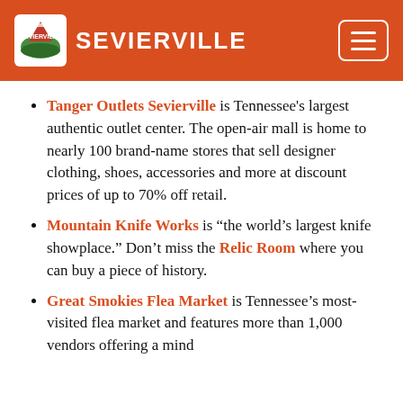SEVIERVILLE
Tanger Outlets Sevierville is Tennessee's largest authentic outlet center. The open-air mall is home to nearly 100 brand-name stores that sell designer clothing, shoes, accessories and more at discount prices of up to 70% off retail.
Mountain Knife Works is "the world's largest knife showplace." Don't miss the Relic Room where you can buy a piece of history.
Great Smokies Flea Market is Tennessee's most-visited flea market and features more than 1,000 vendors offering a mind…